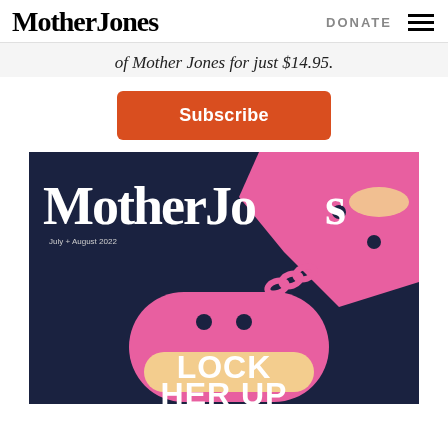Mother Jones | DONATE
of Mother Jones for just $14.95.
Subscribe
[Figure (illustration): Mother Jones magazine cover for July + August 2022 showing large bold white 'MotherJones' text on dark navy background with pink illustrated handcuffs and text reading 'LOCK HER UP' at the bottom]